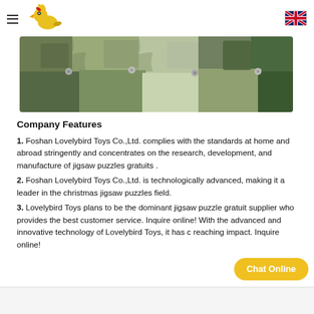Lovelybird Toys - navigation header with logo and language flag
[Figure (photo): Close-up photograph of colorful jigsaw puzzle pieces in camouflage-like green, blue, and brown colors]
Company Features
1. Foshan Lovelybird Toys Co.,Ltd. complies with the standards at home and abroad stringently and concentrates on the research, development, and manufacture of jigsaw puzzles gratuits .
2. Foshan Lovelybird Toys Co.,Ltd. is technologically advanced, making it a leader in the christmas jigsaw puzzles field.
3. Lovelybird Toys plans to be the dominant jigsaw puzzle gratuit supplier who provides the best customer service. Inquire online! With the advanced and innovative technology of Lovelybird Toys, it has c... reaching impact. Inquire online!